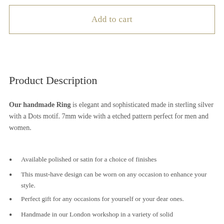Add to cart
Product Description
Our handmade Ring is elegant and sophisticated made in sterling silver with a Dots motif. 7mm wide with a etched pattern perfect for men and women.
Available polished or satin for a choice of finishes
This must-have design can be worn on any occasion to enhance your style.
Perfect gift for any occasions for yourself or your dear ones.
Handmade in our London workshop in a variety of solid